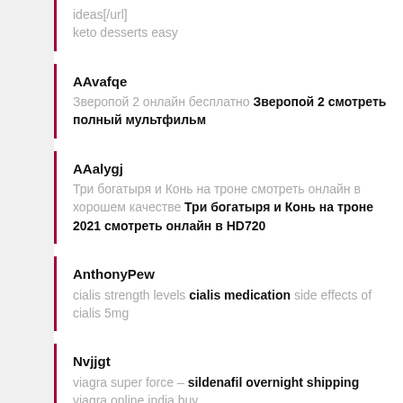ideas[/url]
keto desserts easy
AAvafqe
Зверопой 2 онлайн бесплатно Зверопой 2 смотреть полный мультфильм
AAalygj
Три богатыря и Конь на троне смотреть онлайн в хорошем качестве Три богатыря и Конь на троне 2021 смотреть онлайн в HD720
AnthonyPew
cialis strength levels cialis medication side effects of cialis 5mg
Nvjjgt
viagra super force – sildenafil overnight shipping viagra online india buy
AnthonyPew
20mg cialis side effects normal dosage of cialis